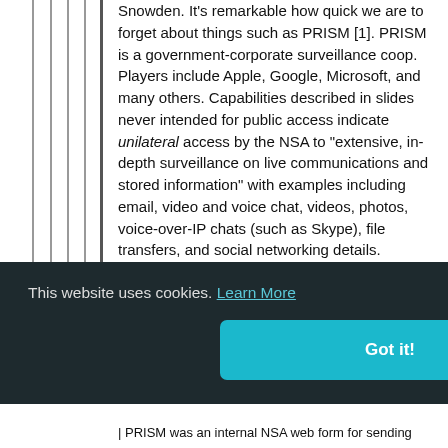Snowden. It's remarkable how quick we are to forget about things such as PRISM [1]. PRISM is a government-corporate surveillance coop. Players include Apple, Google, Microsoft, and many others. Capabilities described in slides never intended for public access indicate unilateral access by the NSA to "extensive, in-depth surveillance on live communications and stored information" with examples including email, video and voice chat, videos, photos, voice-over-IP chats (such as Skype), file transfers, and social networking details.
Especially in modern society government and corporate interests are increasingly interweaving. And I'm no more comforted by governments having access to dystopic levels of personal information than I am by corporations having that access. It just so happens that, in practice, there's no difference
[Figure (screenshot): Cookie consent banner with dark background reading 'This website uses cookies. Learn More' and a teal 'Got it!' button]
surveillance_pro
PRISM was an internal NSA web form for sending...